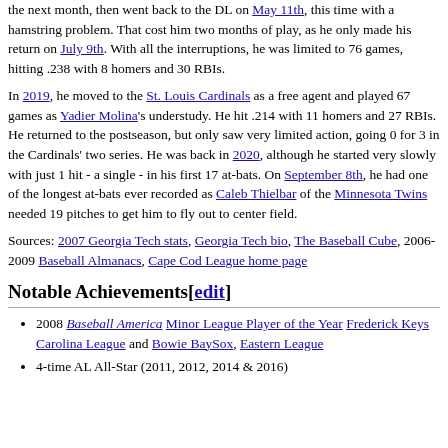the next month, then went back to the DL on May 11th, this time with a hamstring problem. That cost him two months of play, as he only made his return on July 9th. With all the interruptions, he was limited to 76 games, hitting .238 with 8 homers and 30 RBIs.
In 2019, he moved to the St. Louis Cardinals as a free agent and played 67 games as Yadier Molina's understudy. He hit .214 with 11 homers and 27 RBIs. He returned to the postseason, but only saw very limited action, going 0 for 3 in the Cardinals' two series. He was back in 2020, although he started very slowly with just 1 hit - a single - in his first 17 at-bats. On September 8th, he had one of the longest at-bats ever recorded as Caleb Thielbar of the Minnesota Twins needed 19 pitches to get him to fly out to center field.
Sources: 2007 Georgia Tech stats, Georgia Tech bio, The Baseball Cube, 2006-2009 Baseball Almanacs, Cape Cod League home page
Notable Achievements[edit]
2008 Baseball America Minor League Player of the Year Frederick Keys Carolina League and Bowie BaySox, Eastern League
4-time AL All-Star (2011, 2012, 2014 & 2016)